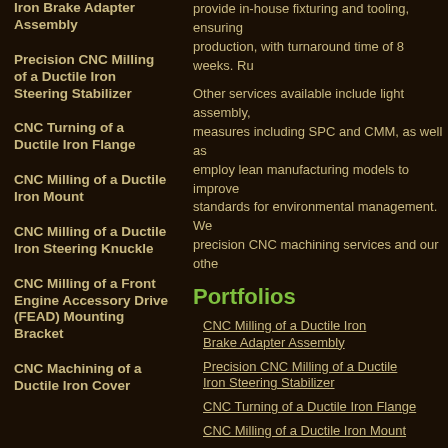Iron Brake Adapter Assembly
Precision CNC Milling of a Ductile Iron Steering Stabilizer
CNC Turning of a Ductile Iron Flange
CNC Milling of a Ductile Iron Mount
CNC Milling of a Ductile Iron Steering Knuckle
CNC Milling of a Front Engine Accessory Drive (FEAD) Mounting Bracket
CNC Machining of a Ductile Iron Cover
provide in-house fixturing and tooling, ensuring production, with turnaround time of 8 weeks. Ru
Other services available include light assembly, measures including SPC and CMM, as well as employ lean manufacturing models to improve standards for environmental management. We precision CNC machining services and our othe
Portfolios
CNC Milling of a Ductile Iron Brake Adapter Assembly
Precision CNC Milling of a Ductile Iron Steering Stabilizer
CNC Turning of a Ductile Iron Flange
CNC Milling of a Ductile Iron Mount
Precision CNC Machining Capa...
| General Capabilities | Machining Processes |
| --- | --- |